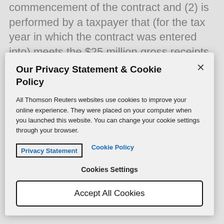commencement of the contract and (2) is performed by a taxpayer that (for the tax year in which the contract was entered into) meets the $25 million gross receipts test. (Code Sec. 460(e), as amended by
Our Privacy Statement & Cookie Policy
All Thomson Reuters websites use cookies to improve your online experience. They were placed on your computer when you launched this website. You can change your cookie settings through your browser.
Privacy Statement   Cookie Policy
Cookies Settings
Accept All Cookies